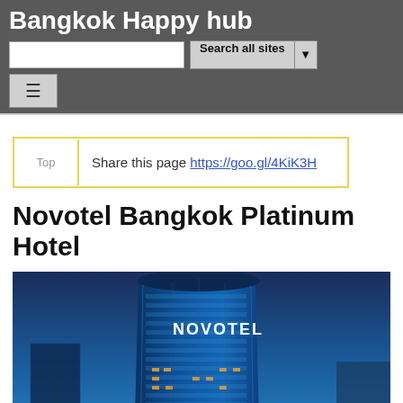Bangkok Happy hub
Share this page https://goo.gl/4KiK3H
Novotel Bangkok Platinum Hotel
[Figure (photo): Exterior night photo of Novotel Bangkok Platinum Hotel — a tall curved glass skyscraper with blue illumination and the Novotel logo visible, set against a twilight sky with other buildings in the background.]